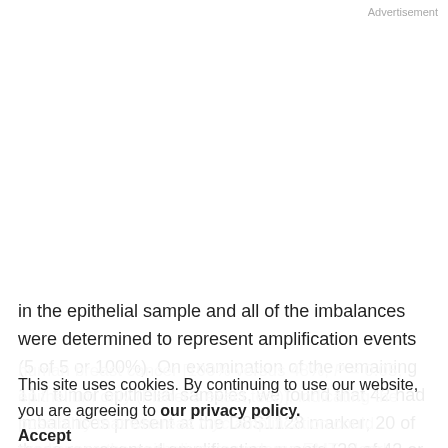Advertisement
in the epithelial sample and all of the imbalances were determined to represent amplification events (5 of 5 or 100%). On examination of the remaining 117 tumor epithelial samples, we found that 42 had imbalances present at the D8S1128 marker; 20 of these represented amplification events (20 of 42 or 48%) and the remaining represented LOH. These results suggest that MYC amplification is associated with the occurrence of EMT in
human breast cancer [100% versus 48%; P = 0.05, epithelium only (Fisher's exact test)], indicating the possibility that whereas myc amplification could predispose the epithelium to undergo EMT, clearly
This site uses cookies. By continuing to use our website, you are agreeing to our privacy policy. Accept